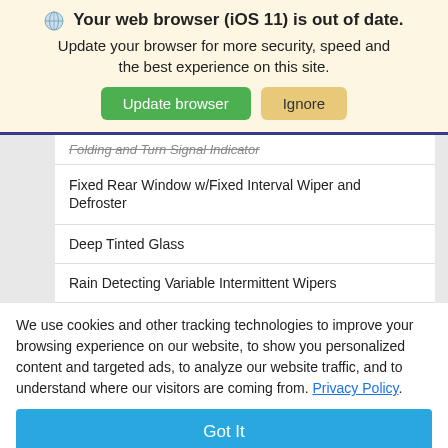🌐 Your web browser (iOS 11) is out of date. Update your browser for more security, speed and the best experience on this site.
[Figure (screenshot): Update browser and Ignore buttons]
| Folding and Turn Signal Indicator |
| Fixed Rear Window w/Fixed Interval Wiper and Defroster |
| Deep Tinted Glass |
| Rain Detecting Variable Intermittent Wipers |
We use cookies and other tracking technologies to improve your browsing experience on our website, to show you personalized content and targeted ads, to analyze our website traffic, and to understand where our visitors are coming from. Privacy Policy.
Got It